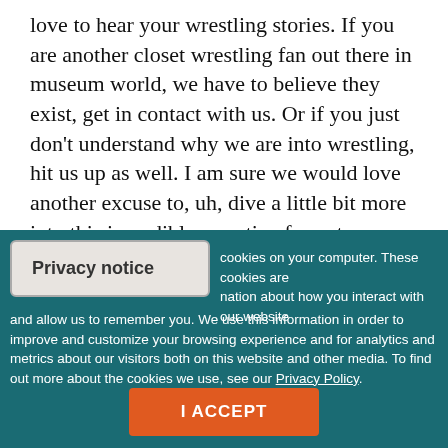love to hear your wrestling stories. If you are another closet wrestling fan out there in museum world, we have to believe they exist, get in contact with us. Or if you just don't understand why we are into wrestling, hit us up as well. I am sure we would love another excuse to, uh, dive a little bit more into this incredible narrative format.
Jeffrey: And maybe in the future, we'll have an episode dedicated to what museums can learn from professional
Privacy notice
cookies on your computer. These cookies are nation about how you interact with our website and allow us to remember you. We use this information in order to improve and customize your browsing experience and for analytics and metrics about our visitors both on this website and other media. To find out more about the cookies we use, see our Privacy Policy.
I ACCEPT